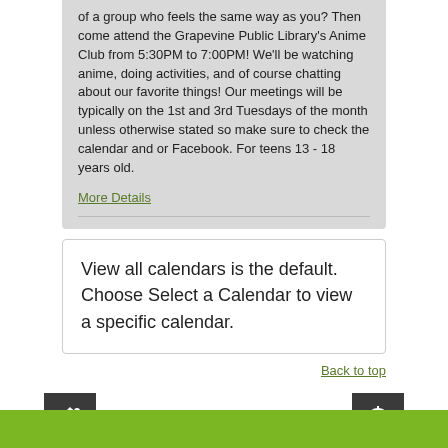of a group who feels the same way as you? Then come attend the Grapevine Public Library's Anime Club from 5:30PM to 7:00PM! We'll be watching anime, doing activities, and of course chatting about our favorite things! Our meetings will be typically on the 1st and 3rd Tuesdays of the month unless otherwise stated so make sure to check the calendar and or Facebook. For teens 13 - 18 years old.
More Details
View all calendars is the default. Choose Select a Calendar to view a specific calendar.
Back to top
[Figure (infographic): Social media and utility icon buttons: share icon, settings/gear icon in top row; Facebook, Twitter, Instagram, YouTube, home, email/envelope, and alert/siren icons in bottom row. All icons are white on dark gray square backgrounds.]
[Figure (other): Green footer bar at the bottom of the page]